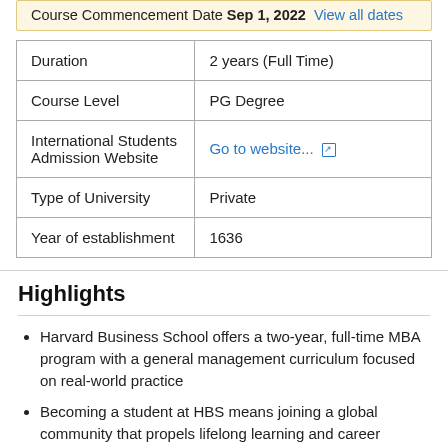Course Commencement Date Sep 1, 2022 View all dates
|  |  |
| --- | --- |
| Duration | 2 years (Full Time) |
| Course Level | PG Degree |
| International Students Admission Website | Go to website... |
| Type of University | Private |
| Year of establishment | 1636 |
Highlights
Harvard Business School offers a two-year, full-time MBA program with a general management curriculum focused on real-world practice
Becoming a student at HBS means joining a global community that propels lifelong learning and career support